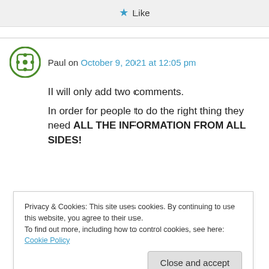[Figure (other): Like button with blue star icon]
Paul on October 9, 2021 at 12:05 pm
II will only add two comments.
In order for people to do the right thing they need ALL THE INFORMATION FROM ALL SIDES!
Privacy & Cookies: This site uses cookies. By continuing to use this website, you agree to their use.
To find out more, including how to control cookies, see here: Cookie Policy
Close and accept
statements are released.